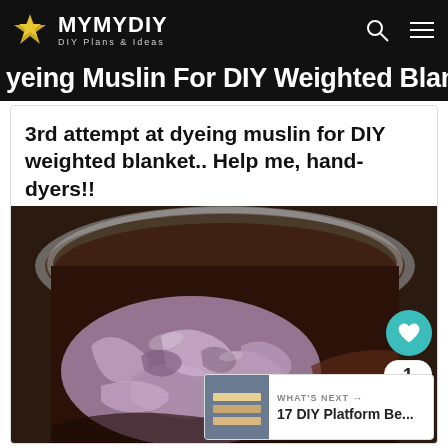MYMYDIY – DIY Plans & Ideas
yeing Muslin For DIY Weighted Blankets
3rd attempt at dyeing muslin for DIY weighted blanket.. Help me, hand-dyers!!
[Figure (photo): Lavender/purple fabric soaking in a large metal bowl with dark reddish-brown dye liquid]
WHAT'S NEXT → 17 DIY Platform Be...